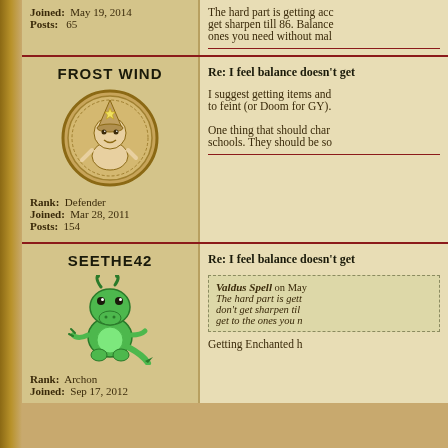Joined: May 19, 2014
Posts: 65
The hard part is getting acc get sharpen till 86. Balance ones you need without mal
FROST WIND
[Figure (illustration): Coin-style avatar of a cartoon character wearing a wizard hat, drawn in brown/tan tones on a circular coin]
Rank: Defender
Joined: Mar 28, 2011
Posts: 154
Re: I feel balance doesn't get
I suggest getting items and to feint (or Doom for GY).
One thing that should char schools. They should be so
SEETHE42
[Figure (illustration): Green cartoon dragon/lizard character standing upright]
Rank: Archon
Joined: Sep 17, 2012
Re: I feel balance doesn't get
Valdus Spell on May
The hard part is gett don't get sharpen til get to the ones you n
Getting Enchanted h